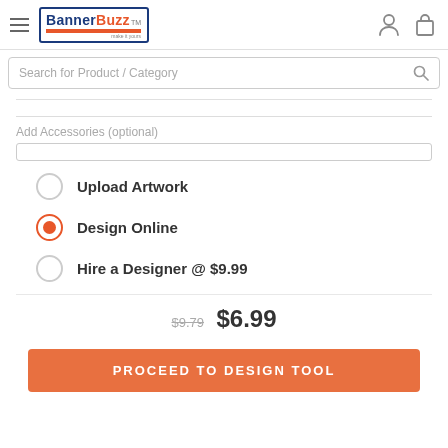BannerBuzz — Search for Product / Category
Add Accessories (optional)
Upload Artwork
Design Online (selected)
Hire a Designer @ $9.99
$9.79  $6.99
PROCEED TO DESIGN TOOL